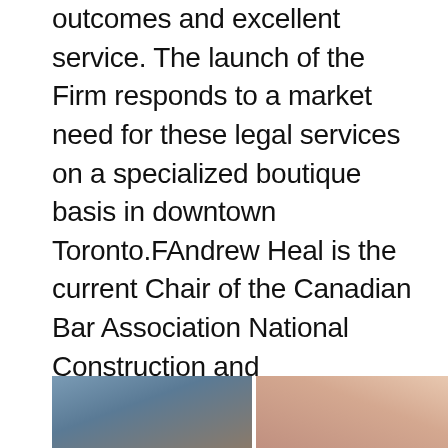outcomes and excellent service. The launch of the Firm responds to a market need for these legal services on a specialized boutique basis in downtown Toronto.FAndrew Heal is the current Chair of the Canadian Bar Association National Construction and Infrastructure Law Section, and is the past Chair of the Ontario Bar Association Construction and Infrastructure Law Section, a member of the Advocates Society, an active member of the Toronto Construction Association, Canadian Construction Association, and other industry groups. Andrew is a Fellow of the Canadian College of Construction Lawyers and a Charter Fellow of the Construction Law Society of America
[Figure (photo): Two side-by-side photo panels at the bottom of the page; left panel shows a muted blue-grey outdoor scene, right panel shows a warm peach-toned scene, separated by a white vertical line.]